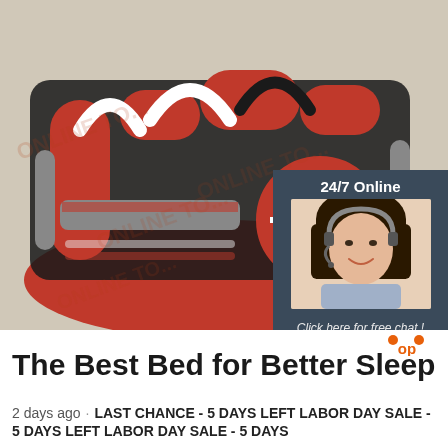[Figure (photo): Aerial view of a large red, black and white inflatable obstacle course laid out on a red mat outdoors. Watermark text 'ONLINE TO...' visible repeatedly across the image. A customer service agent chat panel overlay appears in the lower right of the photo with '24/7 Online' text, a woman with headset photo, 'Click here for free chat!' text, and an orange 'QUOTATION' button.]
The Best Bed for Better Sleep
2 days ago · LAST CHANCE - 5 DAYS LEFT LABOR DAY SALE - 5 DAYS LEFT LABOR DAY SALE - 5 DAYS